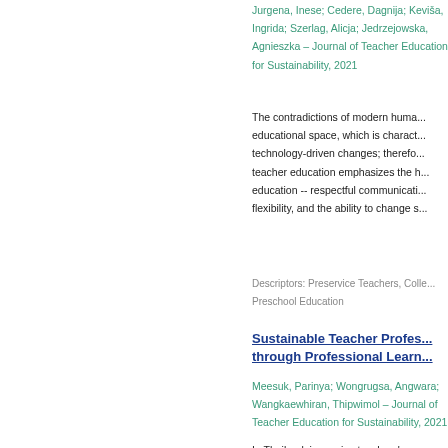Jurgena, Inese; Cedere, Dagnija; Keviša, Ingrida; Szerlag, Alicja; Jedrzejowska, Agnieszka – Journal of Teacher Education for Sustainability, 2021
The contradictions of modern human educational space, which is characterized by technology-driven changes; therefore, teacher education emphasizes the human education -- respectful communication, flexibility, and the ability to change s...
Descriptors: Preservice Teachers, Colle... Preschool Education
Sustainable Teacher Professional Development through Professional Learning...
Meesuk, Parinya; Wongrugsa, Angwara; Wangkaewhiran, Thipwimol – Journal of Teacher Education for Sustainability, 2021
In Thailand, in-service teachers' professional development has been implemented through the Professional Learning Community (PLC) program for more... teachers' sustainably. The sustainability...